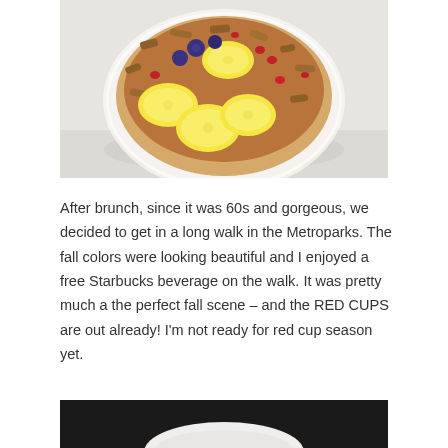[Figure (photo): A white bowl filled with granola, banana slices, blueberries, pomegranate seeds, and other toppings, photographed from above on a white surface.]
After brunch, since it was 60s and gorgeous, we decided to get in a long walk in the Metroparks. The fall colors were looking beautiful and I enjoyed a free Starbucks beverage on the walk. It was pretty much a the perfect fall scene – and the RED CUPS are out already! I'm not ready for red cup season yet.
[Figure (photo): Bottom portion of a photo showing a dark background with a white cup or bowl visible at the bottom edge.]